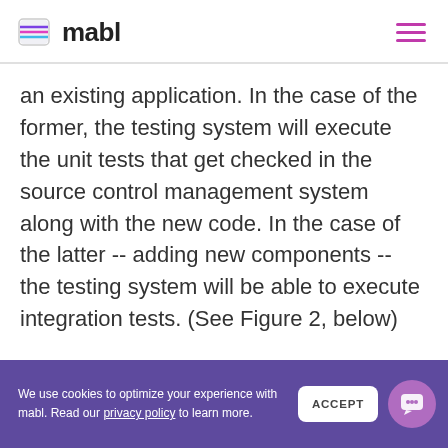mabl
an existing application. In the case of the former, the testing system will execute the unit tests that get checked in the source control management system along with the new code. In the case of the latter -- adding new components -- the testing system will be able to execute integration tests. (See Figure 2, below)
We use cookies to optimize your experience with mabl. Read our privacy policy to learn more.